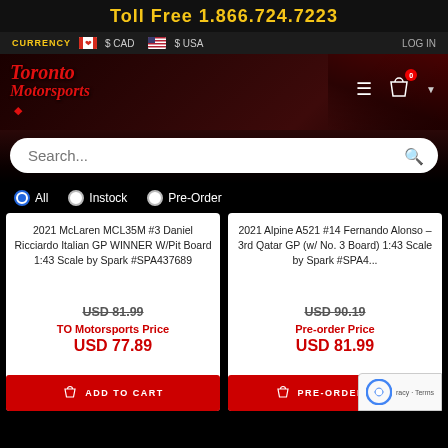Toll Free 1.866.724.7223
CURRENCY $ CAD $ USA LOG IN
[Figure (screenshot): Toronto Motorsports logo with red script text and maple leaf]
Search...
All   Instock   Pre-Order
2021 McLaren MCL35M #3 Daniel Ricciardo Italian GP WINNER W/Pit Board 1:43 Scale by Spark #SPA437689
USD 81.99
TO Motorsports Price
USD 77.89
ADD TO CART
2021 Alpine A521 #14 Fernando Alonso – 3rd Qatar GP (w/ No. 3 Board) 1:43 Scale by Spark #SPA4...
USD 90.19
Pre-order Price
USD 81.99
PRE-ORDER NOW